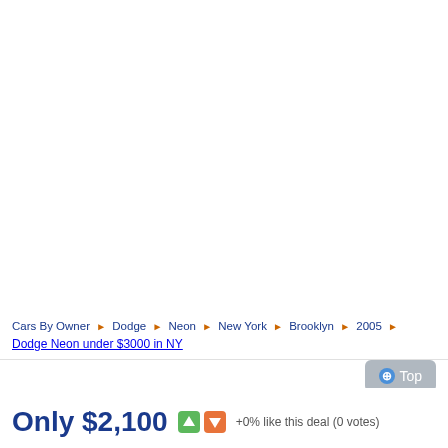[Figure (photo): Large white/blank area occupying the upper portion of the page (car listing image area, appears blank/white)]
Cars By Owner ▶ Dodge ▶ Neon ▶ New York ▶ Brooklyn ▶ 2005 ▶ Dodge Neon under $3000 in NY
⊕ Top
Only $2,100  +0% like this deal (0 votes)